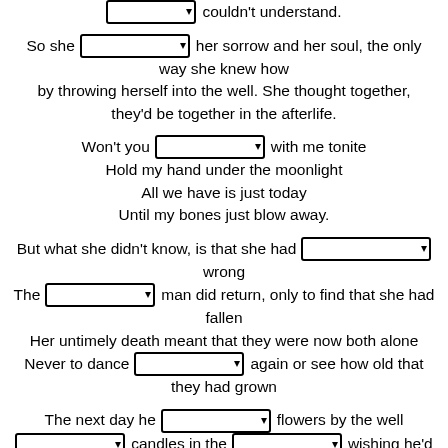[dropdown] couldn't understand.
So she [dropdown] her sorrow and her soul, the only way she knew how by throwing herself into the well. She thought together, they'd be together in the afterlife.
Won't you [dropdown] with me tonite
Hold my hand under the moonlight
All we have is just today
Until my bones just blow away.
But what she didn't know, is that she had [dropdown] wrong
The [dropdown] man did return, only to find that she had fallen
Her untimely death meant that they were now both alone
Never to dance [dropdown] again or see how old that they had grown
The next day he [dropdown] flowers by the well
[dropdown] candles in the [dropdown] wishing he'd been the one that fell